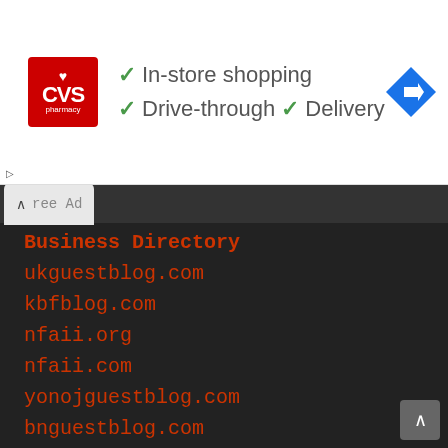[Figure (screenshot): CVS Pharmacy advertisement banner showing In-store shopping, Drive-through, and Delivery options with green checkmarks and a navigation directions icon]
ree Ad
Business Directory
ukguestblog.com
kbfblog.com
nfaii.org
nfaii.com
yonojguestblog.com
bnguestblog.com
kahionlinemedia.com
useallday.com
yonojmedia.com
konamigroup.com
guestbloghelp.com
yonojarticle.com